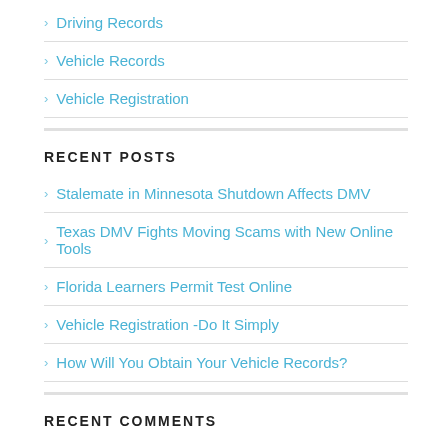Driving Records
Vehicle Records
Vehicle Registration
RECENT POSTS
Stalemate in Minnesota Shutdown Affects DMV
Texas DMV Fights Moving Scams with New Online Tools
Florida Learners Permit Test Online
Vehicle Registration -Do It Simply
How Will You Obtain Your Vehicle Records?
RECENT COMMENTS
Masako Le on Lombard Sec. of State Facility
Tommy C Dixon II on Sanford Driver's License Office